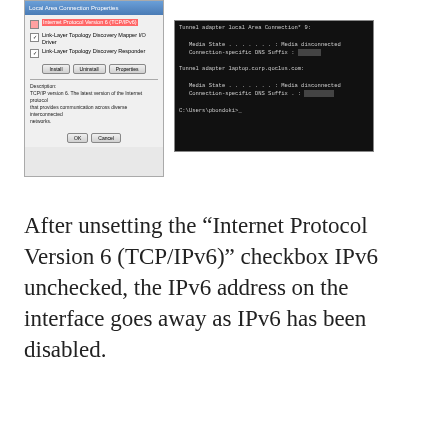[Figure (screenshot): Two screenshots side by side: left shows a Windows network properties dialog with Internet Protocol Version 6 (TCP/IPv6) checkbox highlighted in red and unchecked, right shows a black command prompt window showing 'Media disconnected' messages for network adapters]
After unsetting the “Internet Protocol Version 6 (TCP/IPv6)” checkbox IPv6 unchecked, the IPv6 address on the interface goes away as IPv6 has been disabled.